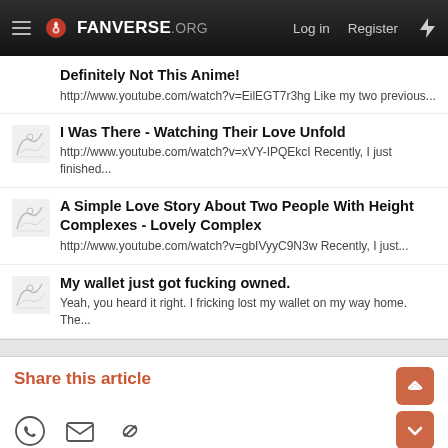FANVERSE.ORG  Log in  Register
Definitely Not This Anime!
http://www.youtube.com/watch?v=EilEGT7r3hg Like my two previous...
I Was There - Watching Their Love Unfold
http://www.youtube.com/watch?v=xVY-IPQEkcI Recently, I just finished...
A Simple Love Story About Two People With Height Complexes - Lovely Complex
http://www.youtube.com/watch?v=gbIVyyC9N3w Recently, I just...
My wallet just got fucking owned.
Yeah, you heard it right. I fricking lost my wallet on my way home. The...
Share this article